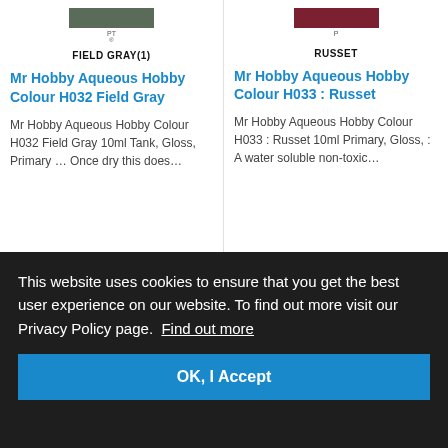[Figure (illustration): Color swatch bar for Field Gray paint, dark gray-green color with 'PT' label below]
FIELD GRAY(1)
Mr Hobby Aqueous Hobby Colour H032 Field Gray
Mr Hobby Aqueous Hobby Colour H032 Field Gray 10ml Tank, Gloss, Primary … Once dry this does…
[Figure (illustration): Color swatch bar for Russet paint, dark red-brown color with 'P' label below]
RUSSET
Mr Hobby Aqueous Hobby Colour H033 : Russet
Mr Hobby Aqueous Hobby Colour H033 : Russet 10ml Primary, Gloss, : A water soluble non-toxic…
This website uses cookies to ensure that you get the best user experience on our website. To find out more visit our Privacy Policy page.  Find out more
OK, I Accept
Mr Hobby A…
Mr Hobby A…